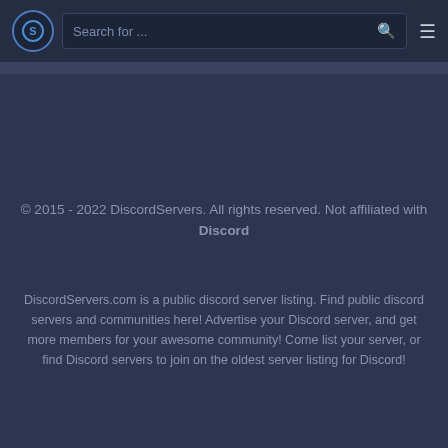Search for ...
© 2015 - 2022 DiscordServers. All rights reserved. Not affiliated with Discord
DiscordServers.com is a public discord server listing. Find public discord servers and communities here! Advertise your Discord server, and get more members for your awesome community! Come list your server, or find Discord servers to join on the oldest server listing for Discord!